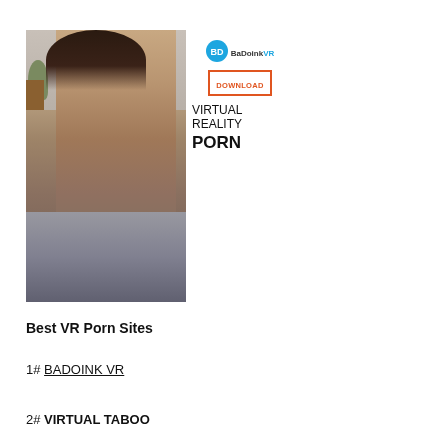[Figure (photo): BaDoinkVR advertisement banner with a photo of a person and text overlay showing logo, DOWNLOAD button, and 'VIRTUAL REALITY PORN' text]
Best VR Porn Sites
1# BADOINK VR
2# VIRTUAL TABOO